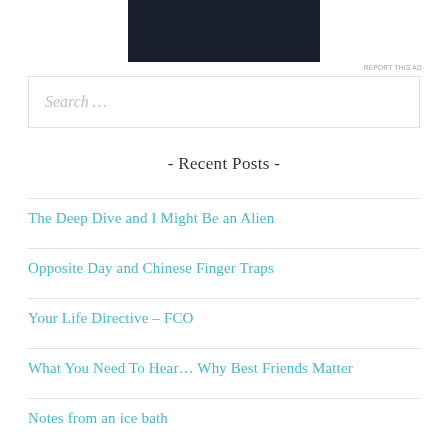[Figure (other): Dark rectangular advertisement block at top center of page]
REPORT THIS AD
Search …
- Recent Posts -
The Deep Dive and I Might Be an Alien
Opposite Day and Chinese Finger Traps
Your Life Directive – FCO
What You Need To Hear… Why Best Friends Matter
Notes from an ice bath